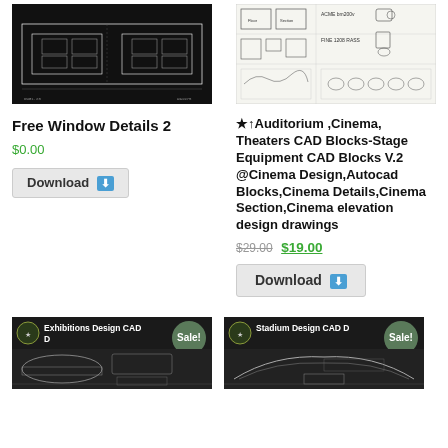[Figure (engineering-diagram): CAD drawing of window details on black background]
Free Window Details 2
$0.00
Download
[Figure (engineering-diagram): CAD blocks sheet with auditorium and cinema stage equipment on white background]
★↑Auditorium ,Cinema, Theaters CAD Blocks-Stage Equipment CAD Blocks V.2  @Cinema Design,Autocad Blocks,Cinema Details,Cinema Section,Cinema elevation design drawings
$29.00 $19.00
Download
[Figure (illustration): Exhibitions Design CAD D product thumbnail with Sale badge]
[Figure (illustration): Stadium Design CAD D product thumbnail with Sale badge]